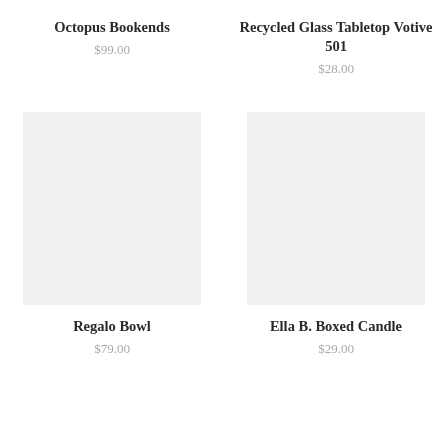Octopus Bookends
$99.00
Recycled Glass Tabletop Votive 501
$28.00
[Figure (photo): Product image placeholder for Regalo Bowl]
[Figure (photo): Product image placeholder for Ella B. Boxed Candle]
Regalo Bowl
$79.00
Ella B. Boxed Candle
$29.00